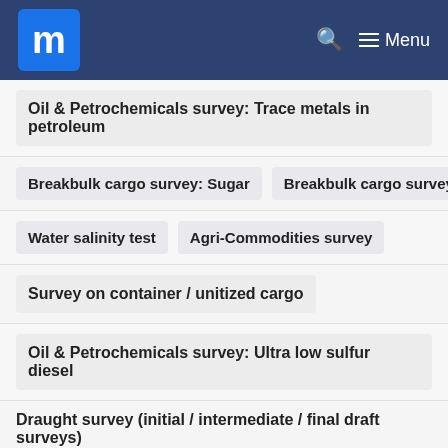m Menu
Oil & Petrochemicals survey: Trace metals in petroleum
Breakbulk cargo survey: Sugar
Breakbulk cargo survey: R...
Water salinity test
Agri-Commodities survey
Survey on container / unitized cargo
Oil & Petrochemicals survey: Ultra low sulfur diesel
Draught survey (initial / intermediate / final draft surveys)
Pre-shipment inspection
Pre-discharge inspection